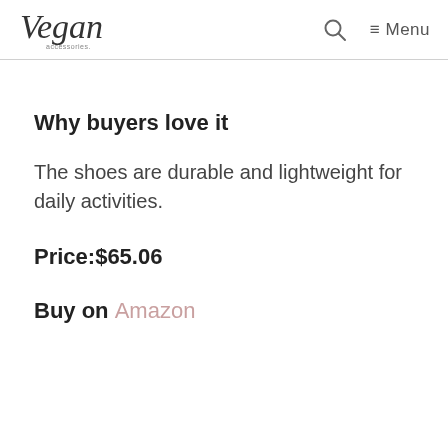Vegan [logo] | Search | Menu
Why buyers love it
The shoes are durable and lightweight for daily activities.
Price:$65.06
Buy on Amazon